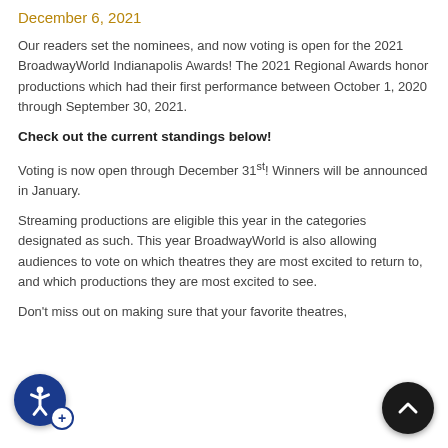December 6, 2021
Our readers set the nominees, and now voting is open for the 2021 BroadwayWorld Indianapolis Awards! The 2021 Regional Awards honor productions which had their first performance between October 1, 2020 through September 30, 2021.
Check out the current standings below!
Voting is now open through December 31st! Winners will be announced in January.
Streaming productions are eligible this year in the categories designated as such. This year BroadwayWorld is also allowing audiences to vote on which theatres they are most excited to return to, and which productions they are most excited to see.
Don't miss out on making sure that your favorite theatres,